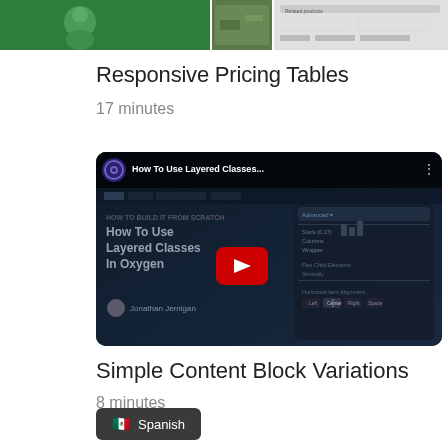[Figure (screenshot): Top strip showing course thumbnail images including a person on green background and related products UI screenshot]
Responsive Pricing Tables
17 minutes
[Figure (screenshot): YouTube video thumbnail for 'How To Use Layered Classes In Oxygen' by Jonathan Jernigan, showing the video player UI with dark background, play button, and Oxygen builder panel on the right]
Simple Content Block Variations
8 minutes
🇲🇽 Spanish